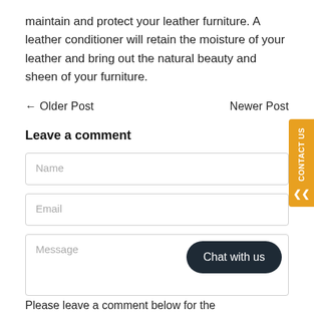maintain and protect your leather furniture. A leather conditioner will retain the moisture of your leather and bring out the natural beauty and sheen of your furniture.
← Older Post    Newer Post
Leave a comment
Name
Email
Message
Chat with us
Please leave a comment below for the